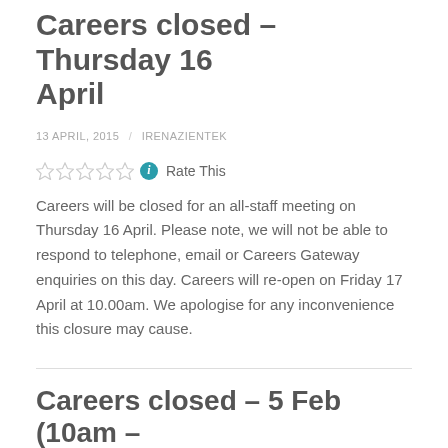Careers closed – Thursday 16 April
13 APRIL, 2015 / IRENAZIENTEK
Rate This
Careers will be closed for an all-staff meeting on Thursday 16 April. Please note, we will not be able to respond to telephone, email or Careers Gateway enquiries on this day. Careers will re-open on Friday 17 April at 10.00am. We apologise for any inconvenience this closure may cause.
Careers closed – 5 Feb (10am –